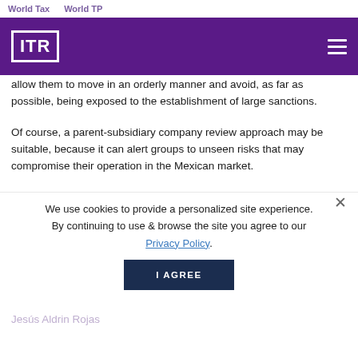World Tax    World TP
[Figure (logo): ITR logo in white on purple navigation bar with hamburger menu icon]
allow them to move in an orderly manner and avoid, as far as possible, being exposed to the establishment of large sanctions.
Of course, a parent-subsidiary company review approach may be suitable, because it can alert groups to unseen risks that may compromise their operation in the Mexican market.
We use cookies to provide a personalized site experience. By continuing to use & browse the site you agree to our Privacy Policy.
I AGREE
Jesús Aldrin Rojas